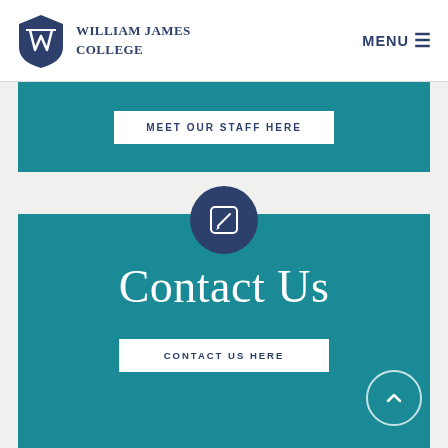[Figure (logo): William James College shield logo with text 'William James College' and menu button]
MEET OUR STAFF HERE
[Figure (illustration): Edit/pencil icon in a dark blue circle overlapping two sections]
Contact Us
CONTACT US HERE